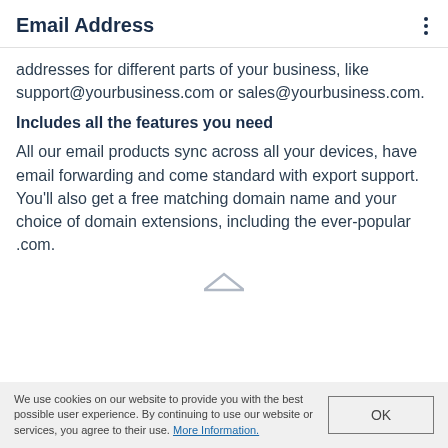Email Address
addresses for different parts of your business, like support@yourbusiness.com or sales@yourbusiness.com.
Includes all the features you need
All our email products sync across all your devices, have email forwarding and come standard with export support. You'll also get a free matching domain name and your choice of domain extensions, including the ever-popular .com.
We use cookies on our website to provide you with the best possible user experience. By continuing to use our website or services, you agree to their use. More Information.